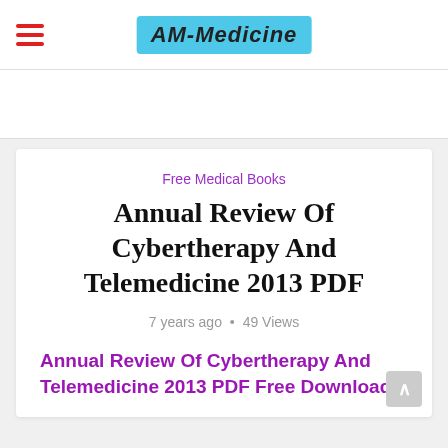AM-Medicine
Free Medical Books
Annual Review Of Cybertherapy And Telemedicine 2013 PDF
7 years ago • 49 Views
Annual Review Of Cybertherapy And Telemedicine 2013 PDF Free Download